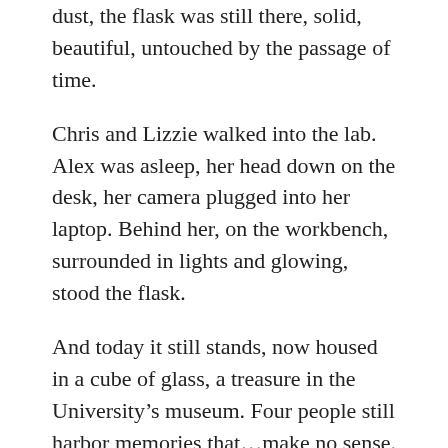dust, the flask was still there, solid, beautiful, untouched by the passage of time.
Chris and Lizzie walked into the lab. Alex was asleep, her head down on the desk, her camera plugged into her laptop. Behind her, on the workbench, surrounded in lights and glowing, stood the flask.
And today it still stands, now housed in a cube of glass, a treasure in the University’s museum. Four people still harbor memories that…make no sense. But they don’t question them too rigorously, or hold them too closely. Perhaps thinking too hard about what was, or what might have been…Maybe remembering the sound of delicate thunder will remind the universe, and it will undo whatever magic Alex did.
And time flows on. Someday entropy will claim the flask.